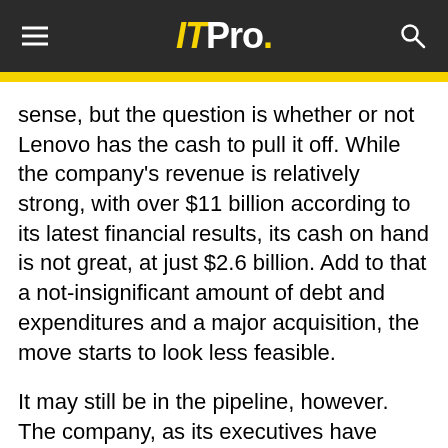IT Pro.
sense, but the question is whether or not Lenovo has the cash to pull it off. While the company's revenue is relatively strong, with over $11 billion according to its latest financial results, its cash on hand is not great, at just $2.6 billion. Add to that a not-insignificant amount of debt and expenditures and a major acquisition, the move starts to look less feasible.
It may still be in the pipeline, however. The company, as its executives have been very quick to remind us, has been growing strongly, and looks set to continue. If it can improve its financial stability over the next year or so, we may well see it announce the purchase